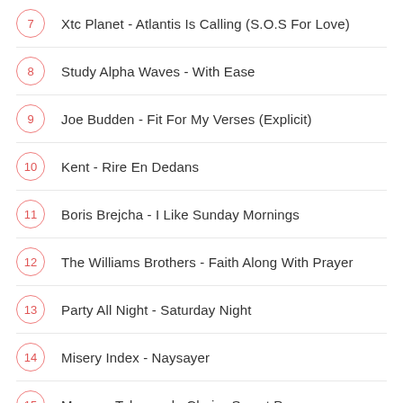7  Xtc Planet - Atlantis Is Calling (S.O.S For Love)
8  Study Alpha Waves - With Ease
9  Joe Budden - Fit For My Verses (Explicit)
10  Kent - Rire En Dedans
11  Boris Brejcha - I Like Sunday Mornings
12  The Williams Brothers - Faith Along With Prayer
13  Party All Night - Saturday Night
14  Misery Index - Naysayer
15  Mormon Tabernacle Choir - Sweet Peace
Top Lagu Indo